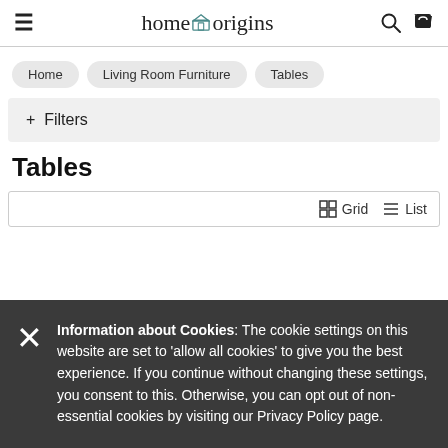home origins
Home  Living Room Furniture  Tables
+ Filters
Tables
Grid  List
Information about Cookies: The cookie settings on this website are set to 'allow all cookies' to give you the best experience. If you continue without changing these settings, you consent to this. Otherwise, you can opt out of non-essential cookies by visiting our Privacy Policy page.